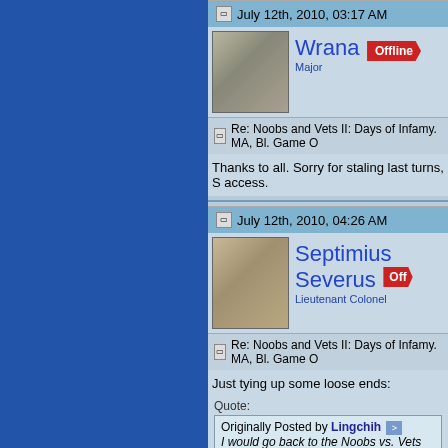July 12th, 2010, 03:17 AM
[Figure (photo): Avatar of user Wrana showing a fluffy wild cat (Pallas's cat)]
Wrana — Offline — Major
Re: Noobs and Vets II: Days of Infamy. MA, Bl. Game O
Thanks to all. Sorry for staling last turns, S access.
July 12th, 2010, 04:26 AM
[Figure (photo): Avatar of user Septimius Severus showing a Roman bust sculpture]
Septimius Severus — Off — Lieutenant Colonel
Re: Noobs and Vets II: Days of Infamy. MA, Bl. Game O
Just tying up some loose ends:
Quote: Originally Posted by Lingchih — I would go back to the Noobs vs. Vets